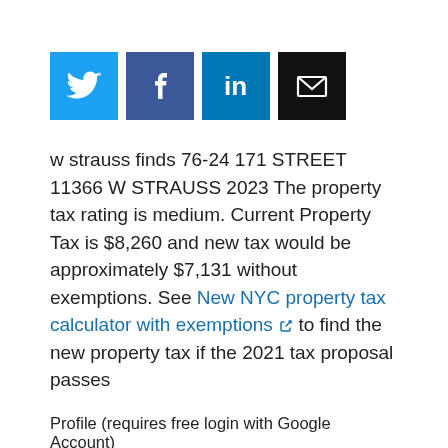[Figure (other): Social media sharing icons: Twitter (blue), Facebook (dark blue), LinkedIn (blue), Email (black)]
w strauss finds 76-24 171 STREET 11366 W STRAUSS 2023 The property tax rating is medium. Current Property Tax is $8,260 and new tax would be approximately $7,131 without exemptions. See New NYC property tax calculator with exemptions [external link] to find the new property tax if the 2021 tax proposal passes
Profile (requires free login with Google Account)
Profile [external link]